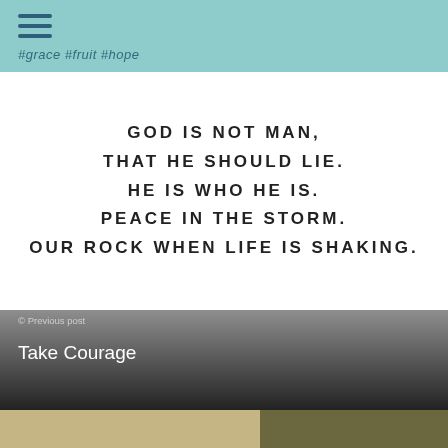#grace  #fruit  #hope
GOD IS NOT MAN, THAT HE SHOULD LIE. HE IS WHO HE IS. PEACE IN THE STORM. OUR ROCK WHEN LIFE IS SHAKING.
Previous post
Take Courage
[Figure (photo): Landscape scene with trees and a castle/tower in the background against a muted sky]
[Figure (illustration): Dark olive/khaki background with text: Do you desire HAPPILY ever AFTER?]